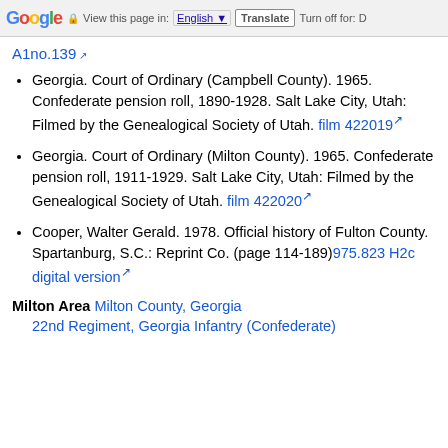Google  View this page in: English  Translate  Turn off for: D
A1no.139 [external link]
Georgia. Court of Ordinary (Campbell County). 1965. Confederate pension roll, 1890-1928. Salt Lake City, Utah: Filmed by the Genealogical Society of Utah. film 422019 [external link]
Georgia. Court of Ordinary (Milton County). 1965. Confederate pension roll, 1911-1929. Salt Lake City, Utah: Filmed by the Genealogical Society of Utah. film 422020 [external link]
Cooper, Walter Gerald. 1978. Official history of Fulton County. Spartanburg, S.C.: Reprint Co. (page 114-189)975.823 H2c digital version [external link]
Milton Area  Milton County, Georgia
22nd Regiment, Georgia Infantry (Confederate)